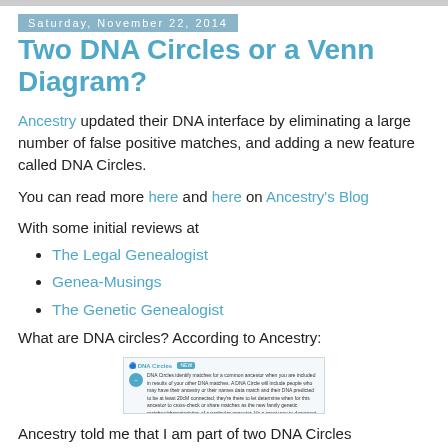Saturday, November 22, 2014
Two DNA Circles or a Venn Diagram?
Ancestry updated their DNA interface by eliminating a large number of false positive matches, and adding a new feature called DNA Circles.
You can read more here and here on Ancestry's Blog
With some initial reviews at
The Legal Genealogist
Genea-Musings
The Genetic Genealogist
What are DNA circles? According to Ancestry:
[Figure (screenshot): Screenshot of Ancestry DNA Circles description page showing a teal circle icon and explanatory text about DNA Circles feature.]
Ancestry told me that I am part of two DNA Circles One has 8 descendants of Israel Swayze, Jr